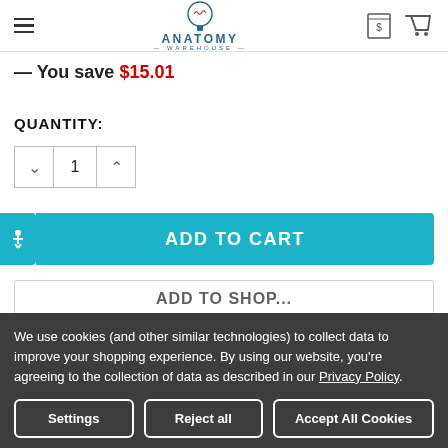Anatomy Warehouse — navigation header with hamburger menu, logo, and cart icons
— You save $15.01
QUANTITY:
[Figure (other): Quantity stepper control showing value 1 with decrement and increment buttons]
[Figure (other): ADD TO CART button in teal/cyan color]
[Figure (other): ADD TO SHOP partially visible button with border]
We use cookies (and other similar technologies) to collect data to improve your shopping experience. By using our website, you're agreeing to the collection of data as described in our Privacy Policy.
Settings | Reject all | Accept All Cookies